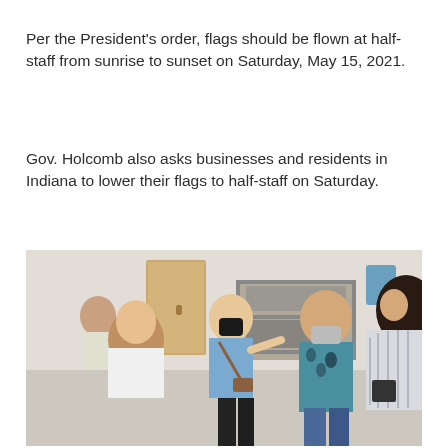Per the President's order, flags should be flown at half-staff from sunrise to sunset on Saturday, May 15, 2021.
Gov. Holcomb also asks businesses and residents in Indiana to lower their flags to half-staff on Saturday.
[Figure (photo): Group of people wearing masks standing in what appears to be a commercial kitchen or food service area. A woman in a blue top with a black mask and crossbody bag is speaking to a group. Shelving with equipment is visible in the background along with a wooden door.]